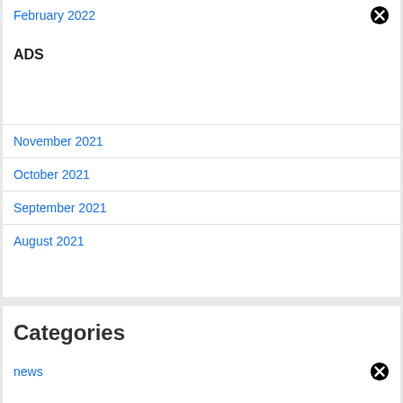February 2022
ADS
November 2021
October 2021
September 2021
August 2021
Categories
news